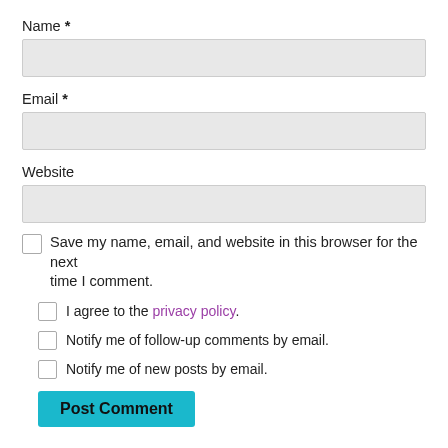Name *
[Figure (other): Empty text input field for Name]
Email *
[Figure (other): Empty text input field for Email]
Website
[Figure (other): Empty text input field for Website]
Save my name, email, and website in this browser for the next time I comment.
I agree to the privacy policy.
Notify me of follow-up comments by email.
Notify me of new posts by email.
Post Comment
This site uses Akismet to reduce spam. Learn how your